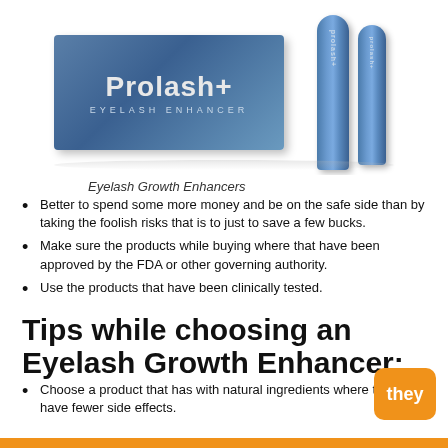[Figure (photo): Prolash+ Eyelash Enhancer product box and two cylindrical applicator pens in blue/teal packaging]
Eyelash Growth Enhancers
Better to spend some more money and be on the safe side than by taking the foolish risks that is to just to save a few bucks.
Make sure the products while buying where that have been approved by the FDA or other governing authority.
Use the products that have been clinically tested.
Tips while choosing an Eyelash Growth Enhancer:
Choose a product that has with natural ingredients where they have fewer side effects.